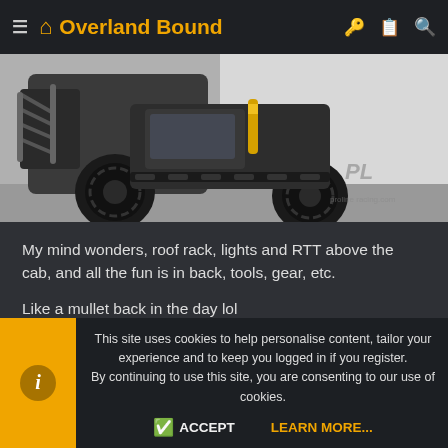Overland Bound
[Figure (photo): Close-up photo of an RC scale crawler truck showing the front bumper, knobby tires, and side steps. Pro-Line Racing logo watermark visible in the lower right corner.]
My mind wonders, roof rack, lights and RTT above the cab, and all the fun is in back, tools, gear, etc.
Like a mullet back in the day lol
Sent from my SM-G920V using Tapatalk
This site uses cookies to help personalise content, tailor your experience and to keep you logged in if you register.
By continuing to use this site, you are consenting to our use of cookies.